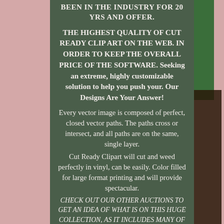BEEN IN THE INDUSTRY FOR 20 YRS AND OFFER.
THE HIGHEST QUALITY OF CUT READY CLIP ART ON THE WEB. IN ORDER TO KEEP THE OVERALL PRICE OF THE SOFTWARE. Seeking an extreme, highly customizable solution to help you push your. Our Designs Are Your Answer!
Every vector image is composed of perfect, closed vector paths. The paths cross or intersect, and all paths are on the same, single layer.
Cut Ready Clipart will cut and weed perfectly in vinyl, can be easily. Color filled for large format printing and will provide spectacular.
CHECK OUT OUR OTHER AUCTIONS TO GET AN IDEA OF WHAT IS ON THIS HUGE COLLECTION, AS IT INCLUDES MANY OF THE OTHER COLLECTIONS WE SELL ALL BUNDLED TOGTHER INTO THIS UNBELIEVABLE PACKAGE. HERE IS A LIST OF THE COLLECTIONS INCLUDED, AND THE NUMBER OF DESIGNS IN EACH CATEGORY. Animals 850 Bikes 214 Birds 895 Butterflies 480 Clowns & Jesters 120 Crosses 150 Demons 330 Dolphins 460 Tribal Dragons 460 Dragons 430 Dragons Vol-2 420 Eyes 200 Fairies 340 Fantasy 1230 Fish 690 Flowers 970 Froggies 69 Ghost Flames 680 Girls 700 Girls Vol-2 720 Flames 740 Hors